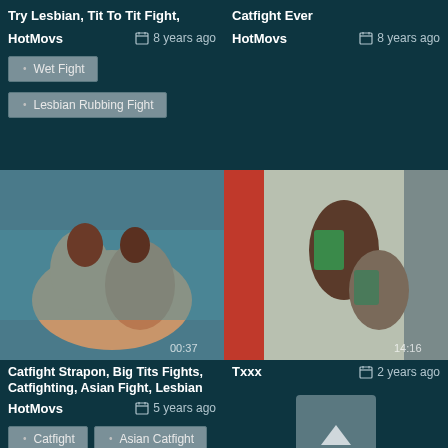Try Lesbian, Tit To Tit Fight,
Catfight Ever
HotMovs  8 years ago
HotMovs  8 years ago
Wet Fight
Lesbian Rubbing Fight
[Figure (photo): Video thumbnail showing two women wrestling on a blue mat]
[Figure (photo): Video thumbnail showing two women fighting in a room]
Catfight Strapon, Big Tits Fights, Catfighting, Asian Fight, Lesbian
HotMovs  5 years ago
Txxx  2 years ago
Catfight
Asian Catfight
Lesbian Catfight